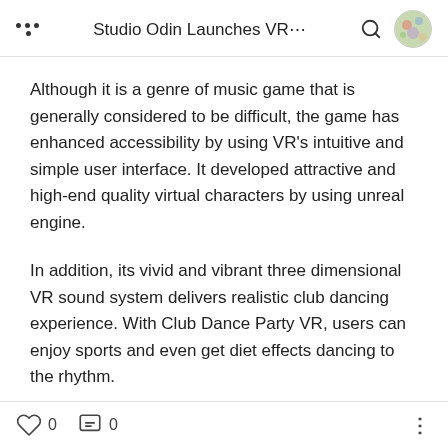Studio Odin Launches VR…
Although it is a genre of music game that is generally considered to be difficult, the game has enhanced accessibility by using VR's intuitive and simple user interface. It developed attractive and high-end quality virtual characters by using unreal engine.
In addition, its vivid and vibrant three dimensional VR sound system delivers realistic club dancing experience. With Club Dance Party VR, users can enjoy sports and even get diet effects dancing to the rhythm.
0  0